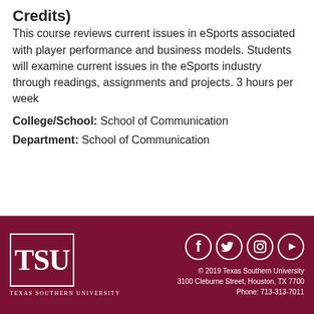Credits)
This course reviews current issues in eSports associated with player performance and business models. Students will examine current issues in the eSports industry through readings, assignments and projects. 3 hours per week
College/School: School of Communication
Department: School of Communication
TSU — Texas Southern University | © 2019 Texas Southern University | 3100 Cleburne Street, Houston, TX 77004 | Phone: 713-313-7011